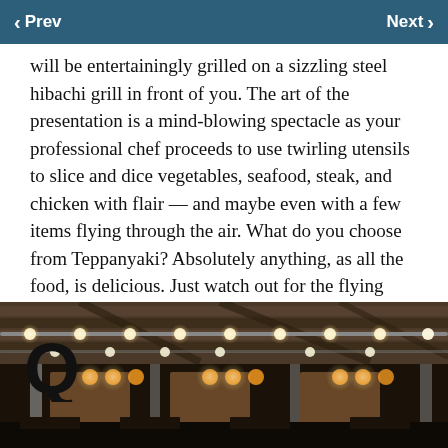Prev   Next
will be entertainingly grilled on a sizzling steel hibachi grill in front of you. The art of the presentation is a mind-blowing spectacle as your professional chef proceeds to use twirling utensils to slice and dice vegetables, seafood, steak, and chicken with flair — and maybe even with a few items flying through the air. What do you choose from Teppanyaki? Absolutely anything, as all the food, is delicious. Just watch out for the flying shrimp.
[Figure (logo): Q logo mark in large bold black font]
[Figure (photo): Interior of a Japanese teppanyaki restaurant showing ceiling with track lighting, wooden beam ceiling panels, columns, and dining area with decorative wall panels in background]